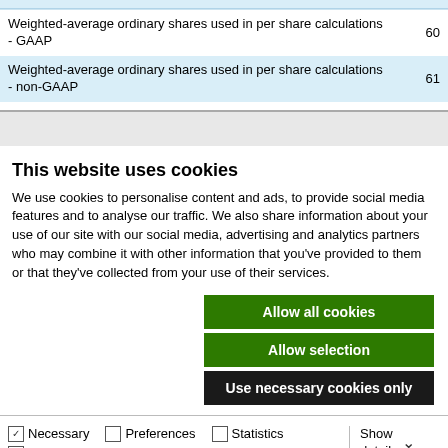| Weighted-average ordinary shares used in per share calculations - GAAP | 60 |
| Weighted-average ordinary shares used in per share calculations - non-GAAP | 61 |
This website uses cookies
We use cookies to personalise content and ads, to provide social media features and to analyse our traffic. We also share information about your use of our site with our social media, advertising and analytics partners who may combine it with other information that you've provided to them or that they've collected from your use of their services.
Allow all cookies
Allow selection
Use necessary cookies only
Necessary  Preferences  Statistics  Marketing  Show details